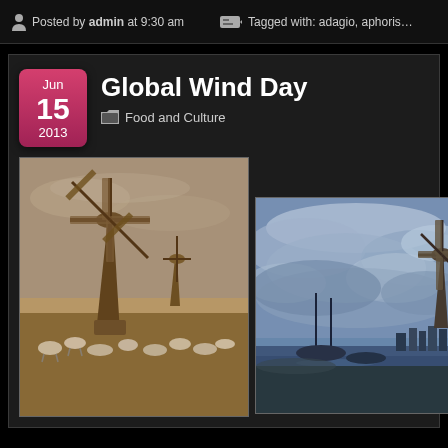Posted by admin at 9:30 am
Tagged with: adagio, aphoris…
Global Wind Day
Food and Culture
[Figure (photo): Sepia-toned vintage photograph of a large windmill in a field with sheep grazing below and smaller windmills in the background]
[Figure (photo): Oil painting style image of a windmill near water with dramatic cloudy sky, ships visible in the distance]